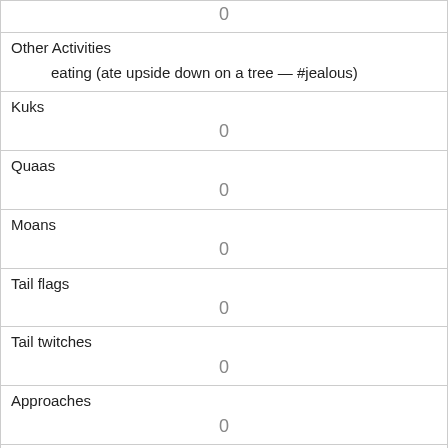| 0 |  |
| Other Activities | eating (ate upside down on a tree — #jealous) |
| Kuks | 0 |
| Quaas | 0 |
| Moans | 0 |
| Tail flags | 0 |
| Tail twitches | 0 |
| Approaches | 0 |
| Indifferent | 1 |
| Runs from | 0 |
| Other Interactions |  |